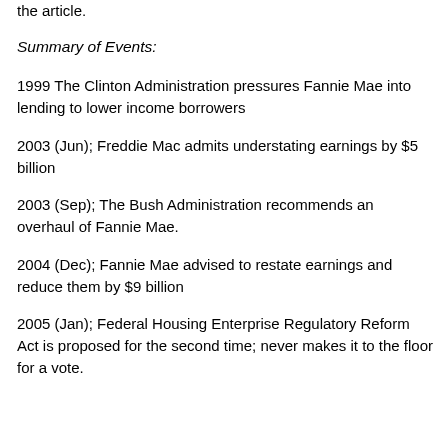the article.
Summary of Events:
1999 The Clinton Administration pressures Fannie Mae into lending to lower income borrowers
2003 (Jun); Freddie Mac admits understating earnings by $5 billion
2003 (Sep); The Bush Administration recommends an overhaul of Fannie Mae.
2004 (Dec); Fannie Mae advised to restate earnings and reduce them by $9 billion
2005 (Jan); Federal Housing Enterprise Regulatory Reform Act is proposed for the second time; never makes it to the floor for a vote.